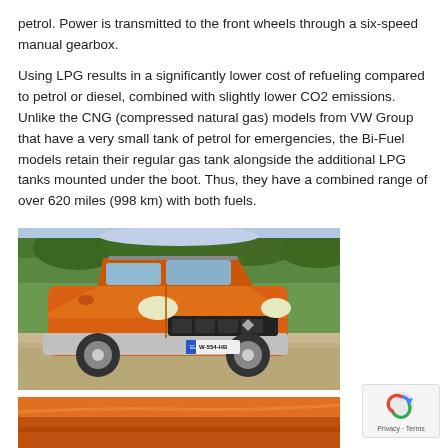petrol. Power is transmitted to the front wheels through a six-speed manual gearbox.
Using LPG results in a significantly lower cost of refueling compared to petrol or diesel, combined with slightly lower CO2 emissions. Unlike the CNG (compressed natural gas) models from VW Group that have a very small tank of petrol for emergencies, the Bi-Fuel models retain their regular gas tank alongside the additional LPG tanks mounted under the boot. Thus, they have a combined range of over 620 miles (998 km) with both fuels.
[Figure (photo): Orange Dacia Duster SUV parked on gravel in front of trees, front three-quarter view, license plate W-554-HB]
[Figure (photo): Partial view of orange car body, bottom of page]